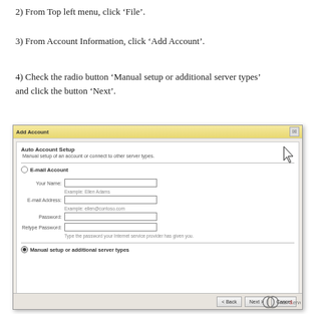2) From Top left menu, click ‘File’.
3) From Account Information, click ‘Add Account’.
4)  Check the radio button ‘Manual setup or additional server types’ and click the button ‘Next’.
[Figure (screenshot): Outlook Add Account dialog box showing Auto Account Setup screen with E-mail Account radio button option and Manual setup or additional server types radio button selected at bottom. Fields shown: Your Name, E-mail Address, Password, Retype Password.]